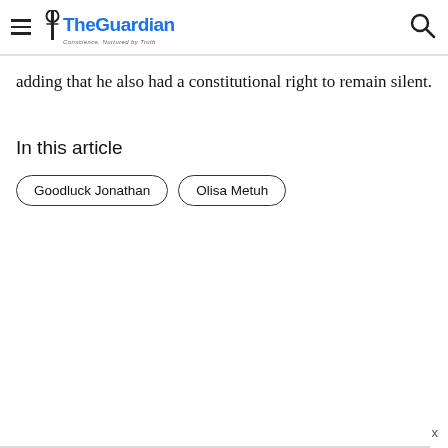The Guardian — Conscience, Nurtured by Truth
adding that he also had a constitutional right to remain silent.
In this article
Goodluck Jonathan
Olisa Metuh